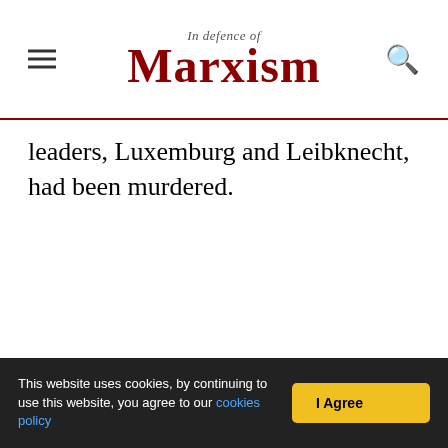In Defence of Marxism
leaders, Luxemburg and Leibknecht, had been murdered.
This website uses cookies, by continuing to use this website, you agree to our cookies policy  I Agree